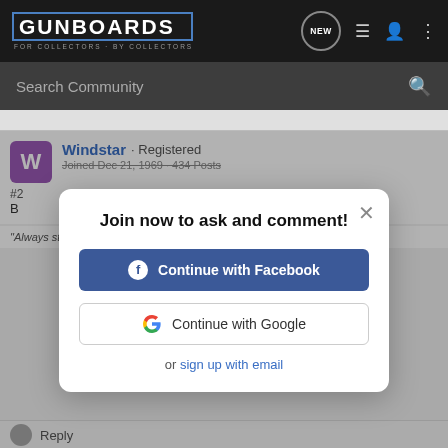[Figure (screenshot): Gunboards forum website header navigation bar with logo, search bar, and user icons]
Windstar · Registered
Joined Dec 21, 1969 · 434 Posts
[Figure (infographic): Modal dialog: Join now to ask and comment! with Continue with Facebook and Continue with Google buttons, and sign up with email link]
"Always stand on principle, even if you stand alone." --- J.Q. Adams
[Figure (photo): Springfield Armory advertisement: 3 EXTRA MAGS AND RANGE BAG FREE with any new striker fired handgun purchase]
Reply